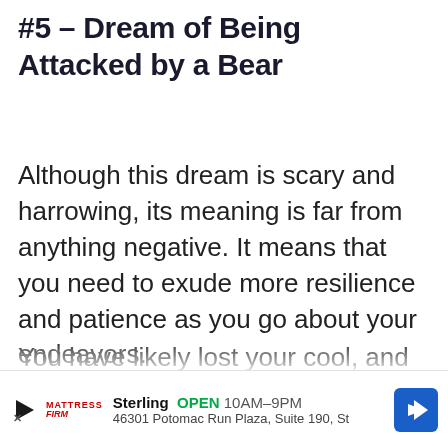#5 – Dream of Being Attacked by a Bear
Although this dream is scary and harrowing, its meaning is far from anything negative. It means that you need to exude more resilience and patience as you go about your endeavors.
You have likely lost your cool, and you demand instant gratification. Well; this is not going to happen, and you'd better cha...
[Figure (other): Advertisement banner for Mattress Firm in Sterling, showing OPEN 10AM-9PM, address 46301 Potomac Run Plaza, Suite 190, St, with a blue navigation arrow icon]